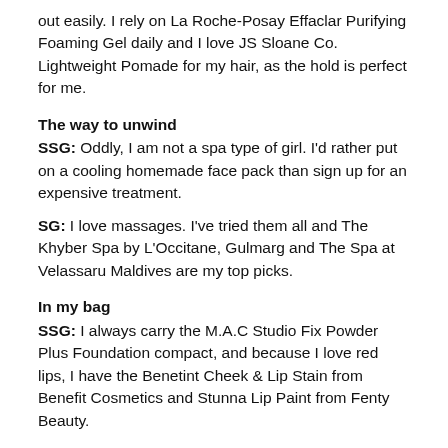out easily. I rely on La Roche-Posay Effaclar Purifying Foaming Gel daily and I love JS Sloane Co. Lightweight Pomade for my hair, as the hold is perfect for me.
The way to unwind
SSG: Oddly, I am not a spa type of girl. I'd rather put on a cooling homemade face pack than sign up for an expensive treatment.
SG: I love massages. I've tried them all and The Khyber Spa by L'Occitane, Gulmarg and The Spa at Velassaru Maldives are my top picks.
In my bag
SSG: I always carry the M.A.C Studio Fix Powder Plus Foundation compact, and because I love red lips, I have the Benetint Cheek & Lip Stain from Benefit Cosmetics and Stunna Lip Paint from Fenty Beauty.